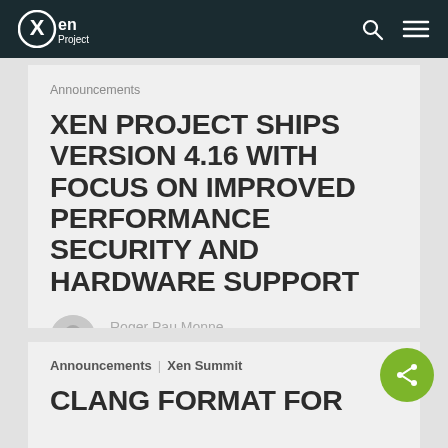Xen Project
Announcements
XEN PROJECT SHIPS VERSION 4.16 WITH FOCUS ON IMPROVED PERFORMANCE SECURITY AND HARDWARE SUPPORT
Roger Pau Monne
December 2, 2021
Announcements  Xen Summit
CLANG FORMAT FOR